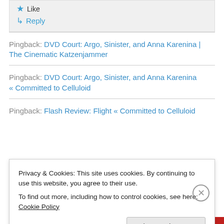★ Like
↳ Reply
Pingback: DVD Court: Argo, Sinister, and Anna Karenina | The Cinematic Katzenjammer
Pingback: DVD Court: Argo, Sinister, and Anna Karenina « Committed to Celluloid
Pingback: Flash Review: Flight « Committed to Celluloid
Privacy & Cookies: This site uses cookies. By continuing to use this website, you agree to their use.
To find out more, including how to control cookies, see here: Cookie Policy